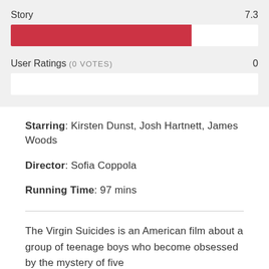[Figure (bar-chart): Story / User Ratings]
Starring: Kirsten Dunst, Josh Hartnett, James Woods
Director: Sofia Coppola
Running Time: 97 mins
The Virgin Suicides is an American film about a group of teenage boys who become obsessed by the mystery of five